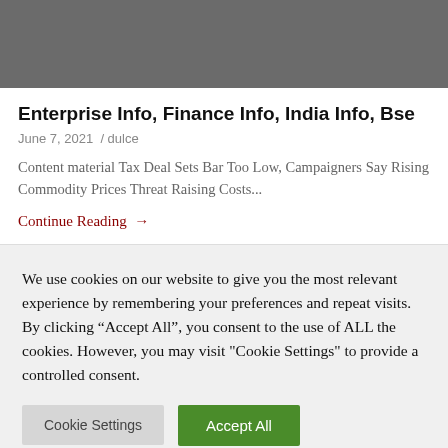[Figure (photo): Gray placeholder image area at top of page]
Enterprise Info, Finance Info, India Info, Bse
June 7, 2021  /  dulce
Content material Tax Deal Sets Bar Too Low, Campaigners Say Rising Commodity Prices Threat Raising Costs...
Continue Reading →
We use cookies on our website to give you the most relevant experience by remembering your preferences and repeat visits. By clicking "Accept All", you consent to the use of ALL the cookies. However, you may visit "Cookie Settings" to provide a controlled consent.